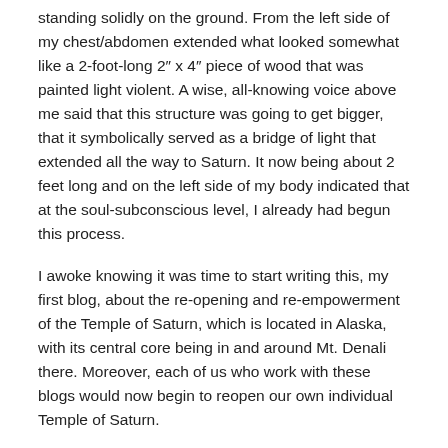standing solidly on the ground. From the left side of my chest/abdomen extended what looked somewhat like a 2-foot-long 2″ x 4″ piece of wood that was painted light violent. A wise, all-knowing voice above me said that this structure was going to get bigger, that it symbolically served as a bridge of light that extended all the way to Saturn. It now being about 2 feet long and on the left side of my body indicated that at the soul-subconscious level, I already had begun this process.
I awoke knowing it was time to start writing this, my first blog, about the re-opening and re-empowerment of the Temple of Saturn, which is located in Alaska, with its central core being in and around Mt. Denali there. Moreover, each of us who work with these blogs would now begin to reopen our own individual Temple of Saturn.
Sixth Ray Saturn